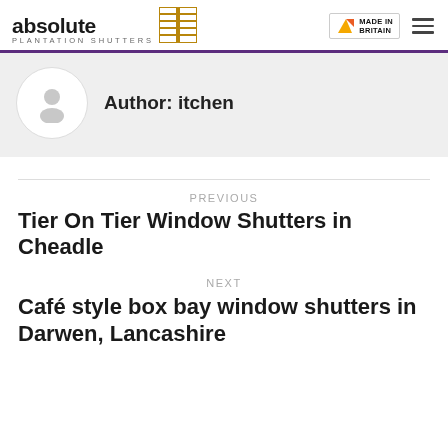absolute PLANTATION SHUTTERS | MADE IN BRITAIN
Author: itchen
PREVIOUS
Tier On Tier Window Shutters in Cheadle
NEXT
Café style box bay window shutters in Darwen, Lancashire